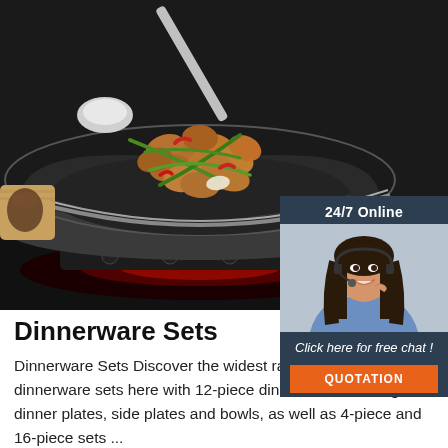[Figure (photo): Stainless steel wok/pan with stir-fried clams and vegetables (green beans, red peppers) on an induction cooktop, with a silver ladle. Red circular badge showing '26/' visible at bottom right of image.]
[Figure (photo): 24/7 Online chat widget with photo of a smiling woman with headset, dark navy background, 'Click here for free chat!' text, and an orange QUOTATION button.]
Dinnerware Sets
Dinnerware Sets Discover the widest range of Denby dinnerware sets here with 12-piece dinner sets featuring dinner plates, side plates and bowls, as well as 4-piece and 16-piece sets ...